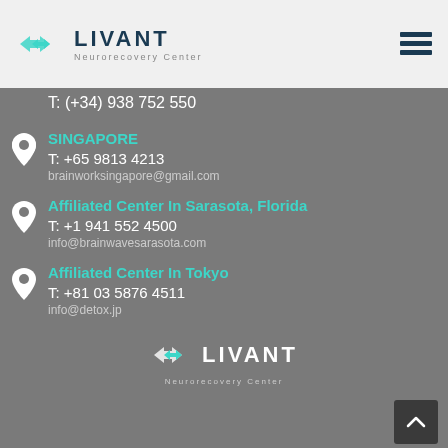[Figure (logo): Livant Neurorecovery Center logo with teal arrow/diamond icon and hamburger menu icon in header]
T: (+34) 938 752 550
SINGAPORE
T: +65 9813 4213
brainworksingapore@gmail.com
Affiliated Center In Sarasota, Florida
T: +1 941 552 4500
info@brainwavesarasota.com
Affiliated Center In Tokyo
T: +81 03 5876 4511
info@detox.jp
[Figure (logo): Livant Neurorecovery Center footer logo in white with teal icon]